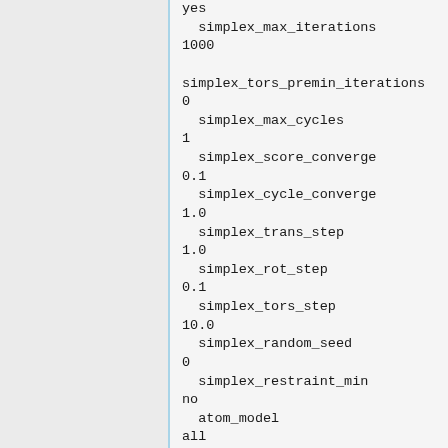yes
    simplex_max_iterations
1000

simplex_tors_premin_iterations
0
    simplex_max_cycles
1
    simplex_score_converge
0.1
    simplex_cycle_converge
1.0
    simplex_trans_step
1.0
    simplex_rot_step
0.1
    simplex_tors_step
10.0
    simplex_random_seed
0
    simplex_restraint_min
no
    atom_model
all
    vdw_defn_file